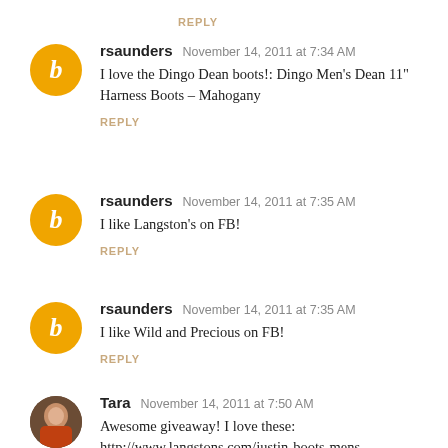REPLY
rsaunders  November 14, 2011 at 7:34 AM
I love the Dingo Dean boots!: Dingo Men's Dean 11" Harness Boots – Mahogany
REPLY
rsaunders  November 14, 2011 at 7:35 AM
I like Langston's on FB!
REPLY
rsaunders  November 14, 2011 at 7:35 AM
I like Wild and Precious on FB!
REPLY
Tara  November 14, 2011 at 7:50 AM
Awesome giveaway! I love these: http://www.langstons.com/justin-boots-mens-stu...